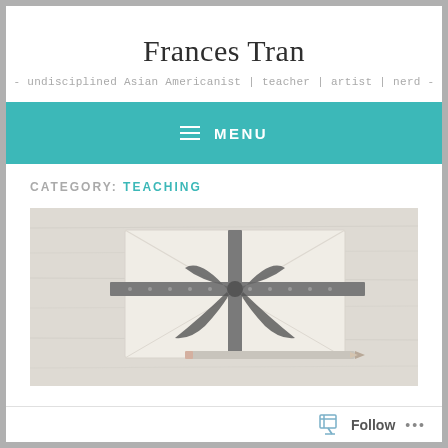Frances Tran
- undisciplined Asian Americanist | teacher | artist | nerd -
MENU
CATEGORY: TEACHING
[Figure (photo): A wrapped envelope gift tied with a grey ribbon and bow, with a pencil resting in front, on a white wooden surface.]
Follow ...